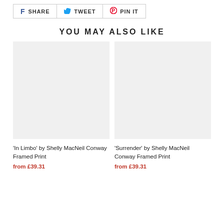[Figure (screenshot): Social share buttons: SHARE (Facebook), TWEET (Twitter), PIN IT (Pinterest)]
YOU MAY ALSO LIKE
[Figure (photo): Product image placeholder for 'In Limbo' by Shelly MacNeil Conway Framed Print]
'In Limbo' by Shelly MacNeil Conway Framed Print
from £39.31
[Figure (photo): Product image placeholder for 'Surrender' by Shelly MacNeil Conway Framed Print]
'Surrender' by Shelly MacNeil Conway Framed Print
from £39.31